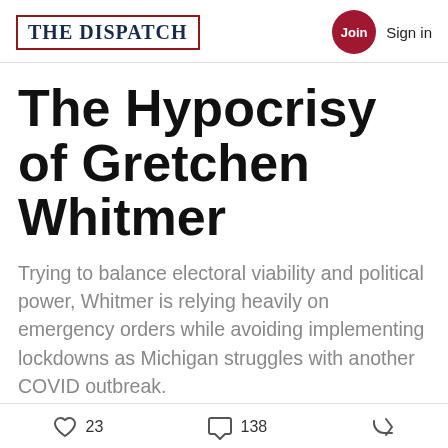THE DISPATCH | Join  Sign in
The Hypocrisy of Gretchen Whitmer
Trying to balance electoral viability and political power, Whitmer is relying heavily on emergency orders while avoiding implementing lockdowns as Michigan struggles with another COVID outbreak.
Tyler Groenendal
Apr 27, 2021
23 likes  138 comments  share